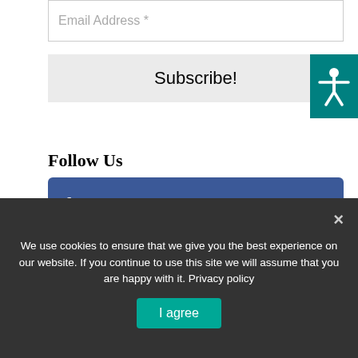Email Address *
Subscribe!
[Figure (other): Accessibility icon button (teal background with white person with outstretched arms icon)]
Follow Us
[Figure (other): Facebook social media button (dark blue background with white f icon)]
[Figure (other): Instagram social media button (steel blue background with white camera icon)]
[Figure (other): YouTube social media button (dark red background with white play button icon)]
We use cookies to ensure that we give you the best experience on our website. If you continue to use this site we will assume that you are happy with it. Privacy policy
I agree